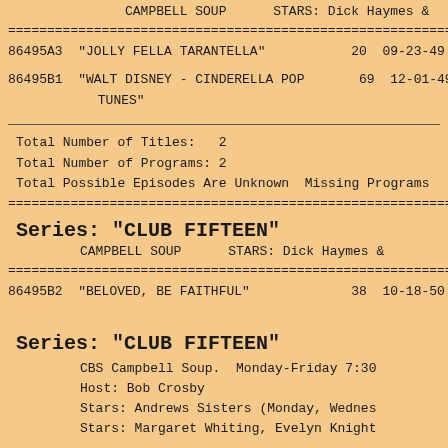CAMPBELL SOUP    STARS: Dick Haymes &
================================================================================
| ID | Title | Num | Date |
| --- | --- | --- | --- |
| 86495A3 | "JOLLY FELLA TARANTELLA" | 20 | 09-23-49 |
| 86495B1 | "WALT DISNEY - CINDERELLA POP TUNES" | 69 | 12-01-49 |
================================================================================
Total Number of Titles:   2
Total Number of Programs: 2
Total Possible Episodes Are Unknown  Missing Programs
================================================================================
Series: "CLUB FIFTEEN"
CAMPBELL SOUP    STARS: Dick Haymes &
================================================================================
| ID | Title | Num | Date |
| --- | --- | --- | --- |
| 86495B2 | "BELOVED, BE FAITHFUL" | 38 | 10-18-50 |
Series: "CLUB FIFTEEN"
CBS Campbell Soup.  Monday-Friday 7:30
Host: Bob Crosby
Stars: Andrews Sisters (Monday, Wednes
Stars: Margaret Whiting, Evelyn Knight